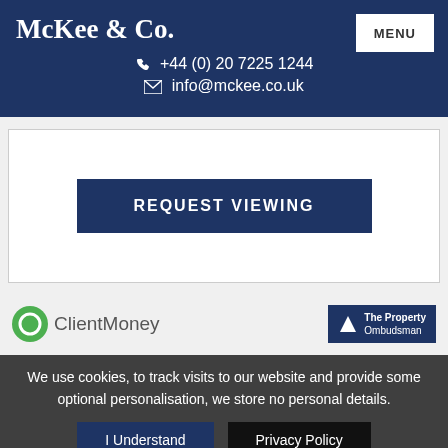McKee & Co.
+44 (0) 20 7225 1244
info@mckee.co.uk
REQUEST VIEWING
[Figure (logo): ClientMoney logo with green circle icon and text]
[Figure (logo): The Property Ombudsman logo on dark blue background]
We use cookies, to track visits to our website and provide some optional personalisation, we store no personal details.
I Understand
Privacy Policy